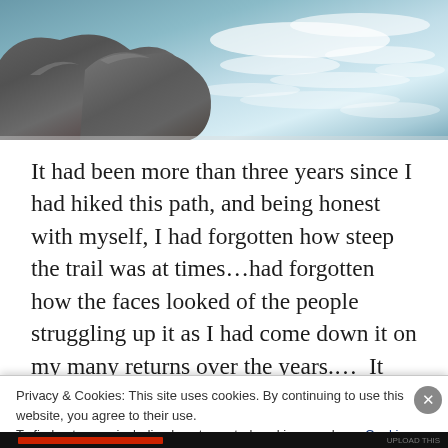[Figure (photo): Top portion of a photo showing rocks and rushing white water/rapids]
It had been more than three years since I had hiked this path, and being honest with myself, I had forgotten how steep the trail was at times...had forgotten how the faces looked of the people struggling up it as I had come down it on my many returns over the years....  It was the roughest hike I had made in quite some time...and one that didn't use to be such a challenge.
Privacy & Cookies: This site uses cookies. By continuing to use this website, you agree to their use.
To find out more, including how to control cookies, see here: Cookie Policy
Close and accept